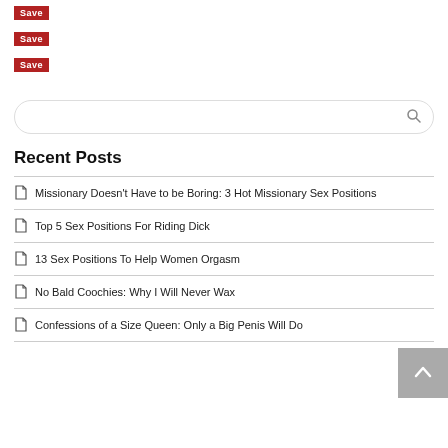[Figure (screenshot): Save button (red background, white text) - first instance at top]
[Figure (screenshot): Save button (red background, white text) - second instance]
[Figure (screenshot): Save button (red background, white text) - third instance]
[Figure (screenshot): Search bar with rounded border and magnifying glass icon]
Recent Posts
Missionary Doesn't Have to be Boring: 3 Hot Missionary Sex Positions
Top 5 Sex Positions For Riding Dick
13 Sex Positions To Help Women Orgasm
No Bald Coochies: Why I Will Never Wax
Confessions of a Size Queen: Only a Big Penis Will Do